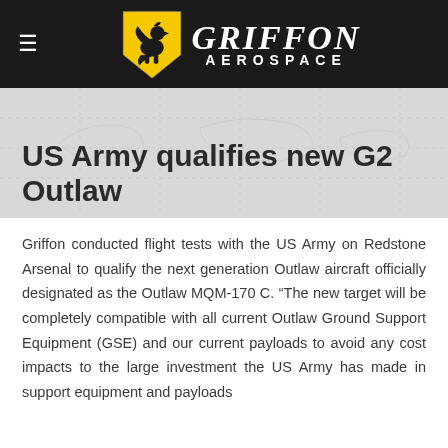[Figure (logo): Griffon Aerospace logo: yellow and black shield with a griffin on the left, white text 'GRIFFON' in large serif italic font, 'AEROSPACE' below in smaller spaced caps, all on a dark background header bar]
US Army qualifies new G2 Outlaw
Griffon conducted flight tests with the US Army on Redstone Arsenal to qualify the next generation Outlaw aircraft officially designated as the Outlaw MQM-170 C. “The new target will be completely compatible with all current Outlaw Ground Support Equipment (GSE) and our current payloads to avoid any cost impacts to the large investment the US Army has made in support equipment and payloads